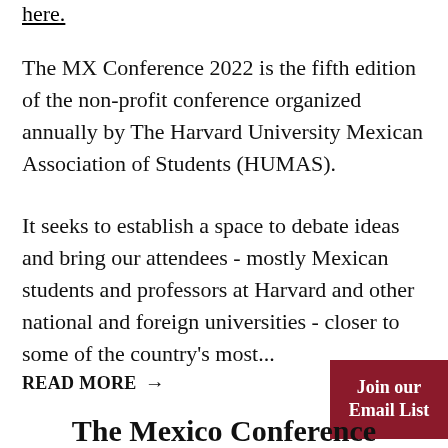here.
The MX Conference 2022 is the fifth edition of the non-profit conference organized annually by The Harvard University Mexican Association of Students (HUMAS).
It seeks to establish a space to debate ideas and bring our attendees - mostly Mexican students and professors at Harvard and other national and foreign universities - closer to some of the country's most...
READ MORE →
Join our Email List
The Mexico Conference